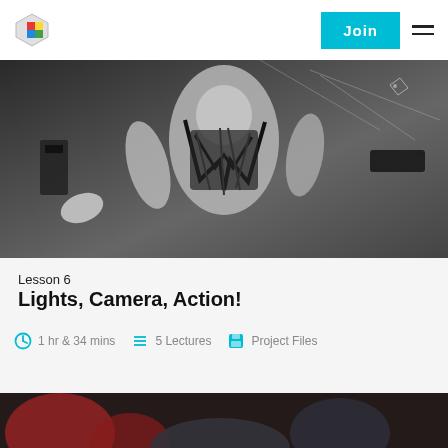Join
[Figure (photo): Black and white 3D render of a female figure in a dark outfit with rigging wires visible, appears to be a CGI character with motion capture or rigging setup visible]
Lesson 6
Lights, Camera, Action!
1 hr & 34 mins   5 Lectures   Project Files
[Figure (photo): Partial view of another lesson thumbnail with red and dark tones at the bottom of the page]